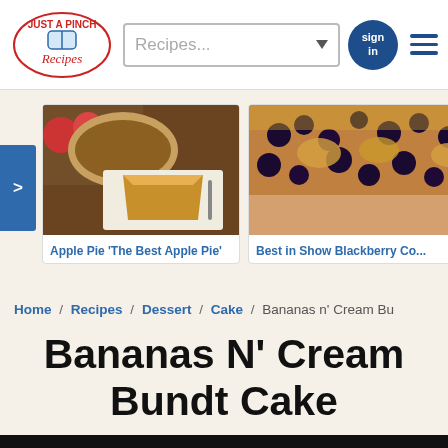Just A Pinch Recipes — navigation header with search bar, sign in button, and menu
[Figure (screenshot): Recipe carousel showing two recipe cards: 'Apple Pie The Best Apple Pie' and 'Best in Show Blackberry Co...' with food photos]
Home / Recipes / Dessert / Cake / Bananas n' Cream Bu
Bananas N' Cream Bundt Cake
ADVERTISEMENT